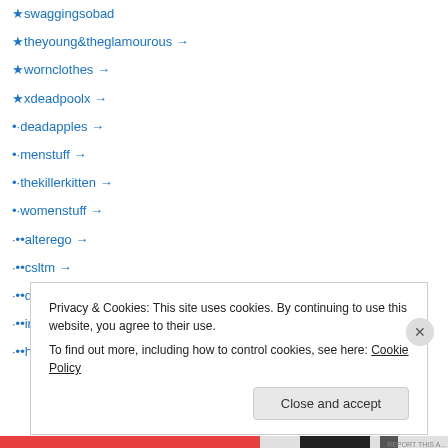★swaggingsobad
★theyoung&theglamourous →
★wornclothes →
★xdeadpoolx →
•·deadapples →
•·menstuff →
•·thekillerkitten →
•·womenstuff →
·••alterego →
·••csltm →
·••drfrandoesSL →
·••insufferabledastard →
·••hebenon vial →
Privacy & Cookies: This site uses cookies. By continuing to use this website, you agree to their use.
To find out more, including how to control cookies, see here: Cookie Policy
Close and accept